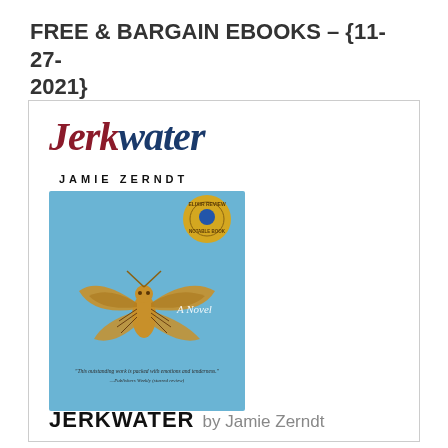FREE & BARGAIN EBOOKS – {11-27-2021}
[Figure (illustration): Book listing card for 'Jerkwater' by Jamie Zerndt, showing the book title in stylized script, author name, book cover image with a moth on a blue background, and the book title and author at the bottom.]